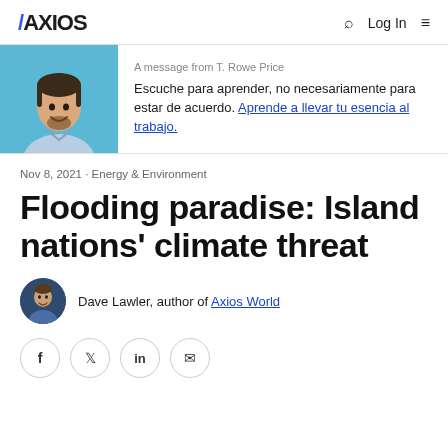AXIOS  Q  Log In  ≡
[Figure (photo): Person smiling with short dark hair and beard, wearing a light blue plaid shirt, photo on a sky blue background]
A message from T. Rowe Price
Escuche para aprender, no necesariamente para estar de acuerdo. Aprende a llevar tu esencia al trabajo.
Nov 8, 2021 · Energy & Environment
Flooding paradise: Island nations' climate threat
[Figure (photo): Author Dave Lawler headshot, circular avatar]
Dave Lawler, author of Axios World
f  t  in  ✉